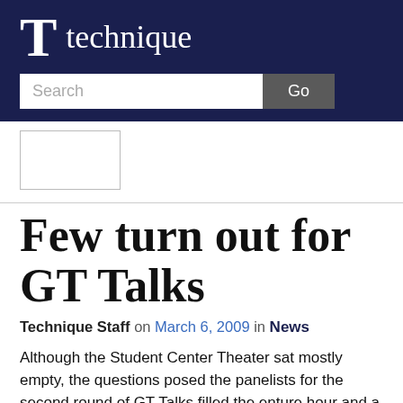T technique
[Figure (screenshot): Search bar with text field labeled 'Search' and a 'Go' button on dark navy background]
[Figure (photo): Small image placeholder with border]
Few turn out for GT Talks
Technique Staff on March 6, 2009 in News
Although the Student Center Theater sat mostly empty, the questions posed the panelists for the second round of GT Talks filled the enture hour and a half session.
Organized by Finding Common Ground, the GT Talks